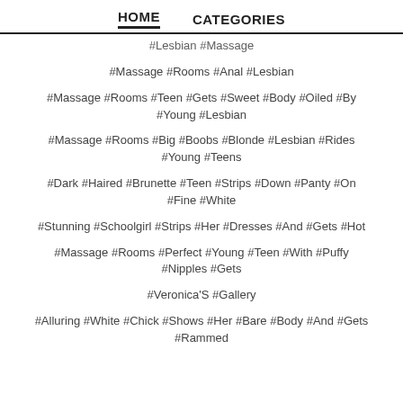HOME   CATEGORIES
#Lesbian #Massage
#Massage #Rooms #Anal #Lesbian
#Massage #Rooms #Teen #Gets #Sweet #Body #Oiled #By #Young #Lesbian
#Massage #Rooms #Big #Boobs #Blonde #Lesbian #Rides #Young #Teens
#Dark #Haired #Brunette #Teen #Strips #Down #Panty #On #Fine #White
#Stunning #Schoolgirl #Strips #Her #Dresses #And #Gets #Hot
#Massage #Rooms #Perfect #Young #Teen #With #Puffy #Nipples #Gets
#Veronica'S #Gallery
#Alluring #White #Chick #Shows #Her #Bare #Body #And #Gets #Rammed